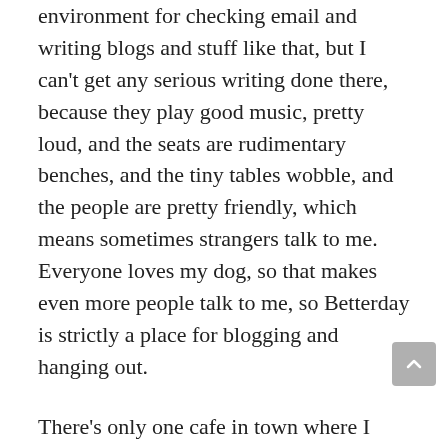environment for checking email and writing blogs and stuff like that, but I can't get any serious writing done there, because they play good music, pretty loud, and the seats are rudimentary benches, and the tiny tables wobble, and the people are pretty friendly, which means sometimes strangers talk to me. Everyone loves my dog, so that makes even more people talk to me, so Betterday is strictly a place for blogging and hanging out.

There's only one cafe in town where I might attempt to actually write creatively, which is The Iconik, because it's all done up like a postmodern casbah. The atmosphere is both extremely creative and relaxed and the furniture's more comfy and the people are, well, less outgoing. Currently, I'm at Counter